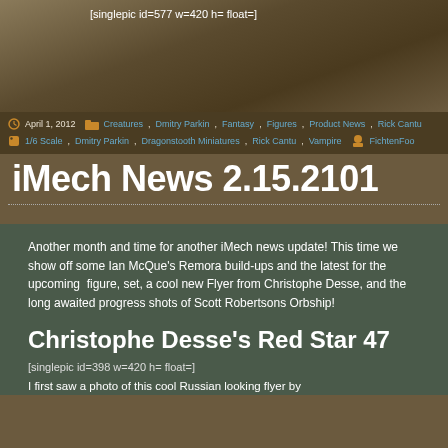[Figure (screenshot): Top image area with shortcode text]
[singlepic id=577 w=420 h= float=]
April 1, 2012   Creatures, Dmitry Parkin, Fantasy, Figures, Product News, Rick Cantu
1/6 Scale, Dmitry Parkin, Dragonstooth Miniatures, Rick Cantu, Vampire   FichtenFoo
iMech News 2.15.2101
Another month and time for another iMech news update! This time we show off some Ian McQue's Remora build-ups and the latest for the upcoming  figure, set, a cool new Flyer from Christophe Desse, and the long awaited progress shots of Scott Robertsons Orbship!
Christophe Desse's Red Star 47
[singlepic id=398 w=420 h= float=]
I first saw a photo of this cool Russian looking flyer by